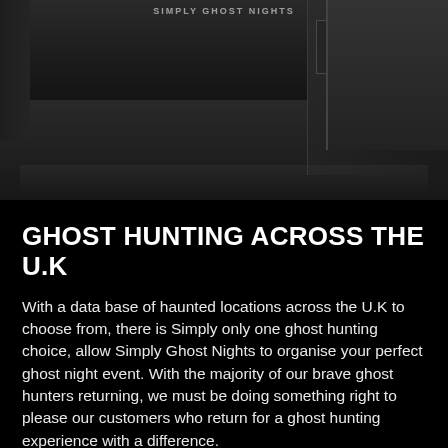[Figure (photo): Dark grayscale photograph of a rainy urban street scene with a building, signage, a traffic cone, and wet pavement reflections. Overhead partial text visible.]
GHOST HUNTING ACROSS THE U.K
With a data base of haunted locations across the U.K to choose from, there is Simply only one ghost hunting choice, allow Simply Ghost Nights to organise your perfect ghost night event. With the majority of our brave ghost hunters returning, we must be doing something right to please our customers who return for a ghost hunting experience with a difference.
Find out more